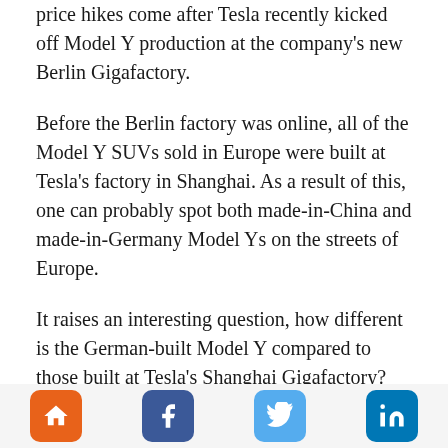price hikes come after Tesla recently kicked off Model Y production at the company's new Berlin Gigafactory.
Before the Berlin factory was online, all of the Model Y SUVs sold in Europe were built at Tesla's factory in Shanghai. As a result of this, one can probably spot both made-in-China and made-in-Germany Model Ys on the streets of Europe.
It raises an interesting question, how different is the German-built Model Y compared to those built at Tesla's Shanghai Gigafactory? For one, the made-in-Germany Tesla Model Y comes equipped with larger camera lenses.
Early customer reviews did report any quality issues with the German-made Tesla Model Y. However, Tesla has been...
[Figure (other): Footer bar with four social/navigation icon buttons: home (orange), Facebook (dark blue), Twitter (light blue), LinkedIn (blue)]